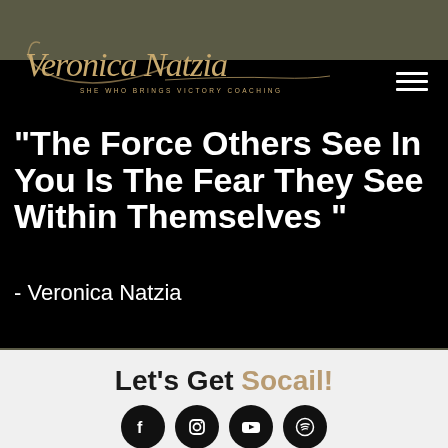[Figure (logo): Veronica Natzia script logo in gold/tan color with tagline 'SHE WHO BRINGS VICTORY COACHING']
"The Force Others See In You Is The Fear They See Within Themselves "
- Veronica Natzia
Let's Get Socail!
[Figure (illustration): Row of four social media icon circles (Facebook, Instagram, YouTube, Spotify) in black with white icons]